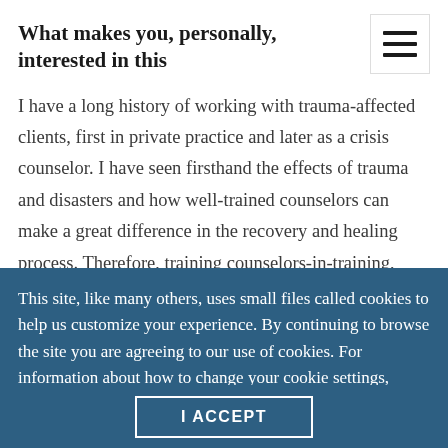What makes you, personally, interested in this
I have a long history of working with trauma-affected clients, first in private practice and later as a crisis counselor. I have seen firsthand the effects of trauma and disasters and how well-trained counselors can make a great difference in the recovery and healing process. Therefore, training counselors-in-training, [and] also those in the field, becomes important,
This site, like many others, uses small files called cookies to help us customize your experience. By continuing to browse the site you are agreeing to our use of cookies. For information about how to change your cookie settings, please see our cookie policy.
I ACCEPT